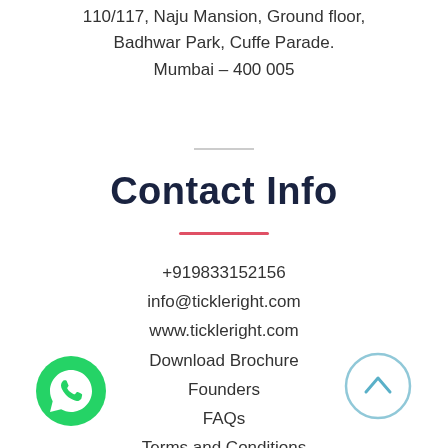110/117, Naju Mansion, Ground floor, Badhwar Park, Cuffe Parade. Mumbai – 400 005
Contact Info
+919833152156
info@tickleright.com
www.tickleright.com
Download Brochure
Founders
FAQs
Terms and Conditions
[Figure (illustration): WhatsApp button icon (green circle with white phone handset)]
[Figure (illustration): Scroll to top button (light blue circle with upward arrow)]